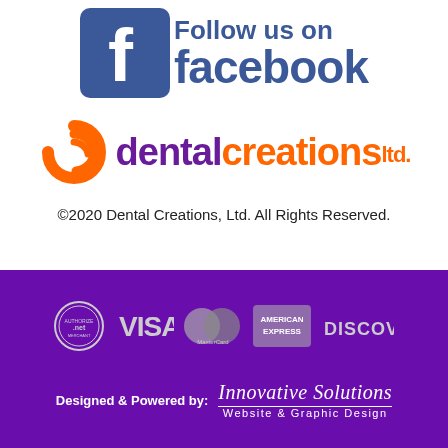[Figure (logo): Follow us on Facebook logo with Facebook 'f' icon in blue and 'Follow us on facebook' text]
[Figure (logo): Dental Creations Ltd. logo with orange swirl icon, purple 'dental' text, orange 'creations' text, and orange 'ltd.' text]
©2020 Dental Creations, Ltd. All Rights Reserved.
[Figure (logo): Payment method logos on purple background: Authorize.Net, VISA, MasterCard, American Express, Discover]
[Figure (logo): Designed & Powered by: Innovative Solutions Website & Graphic Design]